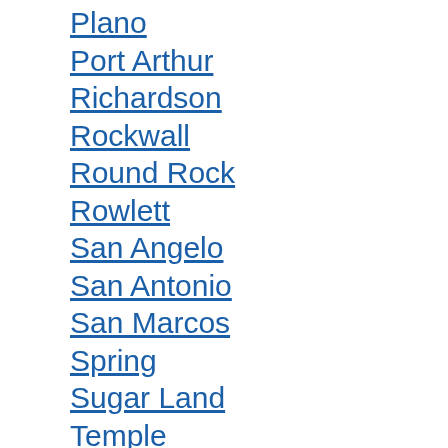Plano
Port Arthur
Richardson
Rockwall
Round Rock
Rowlett
San Angelo
San Antonio
San Marcos
Spring
Sugar Land
Temple
The Woodlands
Tyler
Victoria